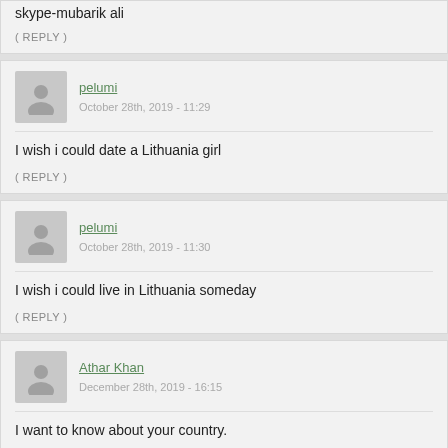skype-mubarik ali
( REPLY )
pelumi
October 28th, 2019 - 11:29
I wish i could date a Lithuania girl
( REPLY )
pelumi
October 28th, 2019 - 11:30
I wish i could live in Lithuania someday
( REPLY )
Athar Khan
December 28th, 2019 - 16:15
I want to know about your country.